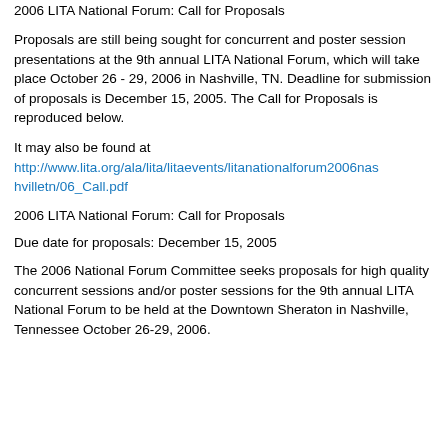2006 LITA National Forum: Call for Proposals
Proposals are still being sought for concurrent and poster session presentations at the 9th annual LITA National Forum, which will take place October 26 - 29, 2006 in Nashville, TN. Deadline for submission of proposals is December 15, 2005. The Call for Proposals is reproduced below.
It may also be found at http://www.lita.org/ala/lita/litaevents/litanationalforum2006nashvilletn/06_Call.pdf
2006 LITA National Forum: Call for Proposals
Due date for proposals: December 15, 2005
The 2006 National Forum Committee seeks proposals for high quality concurrent sessions and/or poster sessions for the 9th annual LITA National Forum to be held at the Downtown Sheraton in Nashville, Tennessee October 26-29, 2006.